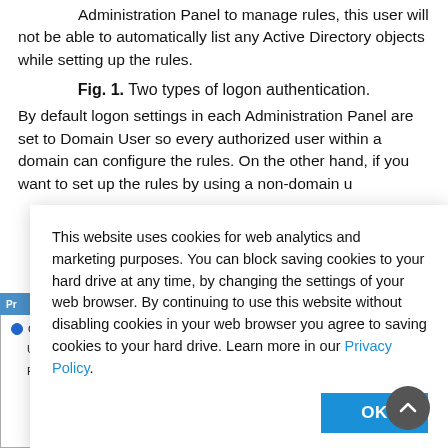Administration Panel to manage rules, this user will not be able to automatically list any Active Directory objects while setting up the rules.
Fig. 1. Two types of logon authentication.
By default logon settings in each Administration Panel are set to Domain User so every authorized user within a domain can configure the rules. On the other hand, if you want to set up the rules by using a non-domain u
This website uses cookies for web analytics and marketing purposes. You can block saving cookies to your hard drive at any time, by changing the settings of your web browser. By continuing to use this website without disabling cookies in your web browser you agree to saving cookies to your hard drive. Learn more in our Privacy Policy.
[Figure (screenshot): Screenshot of a UI panel showing credential user options with Username field containing 'John' and a password field below it, with an orange left border highlight.]